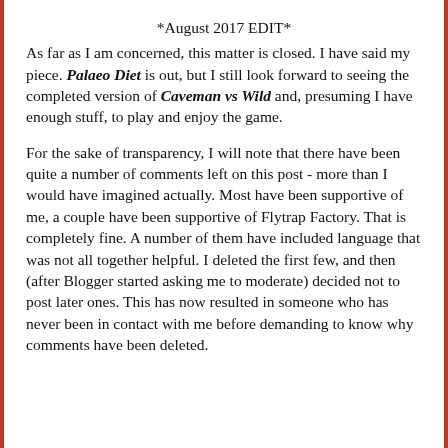*August 2017 EDIT*
As far as I am concerned, this matter is closed. I have said my piece. Palaeo Diet is out, but I still look forward to seeing the completed version of Caveman vs Wild and, presuming I have enough stuff, to play and enjoy the game.
For the sake of transparency, I will note that there have been quite a number of comments left on this post - more than I would have imagined actually. Most have been supportive of me, a couple have been supportive of Flytrap Factory. That is completely fine. A number of them have included language that was not all together helpful. I deleted the first few, and then (after Blogger started asking me to moderate) decided not to post later ones. This has now resulted in someone who has never been in contact with me before demanding to know why comments have been deleted.